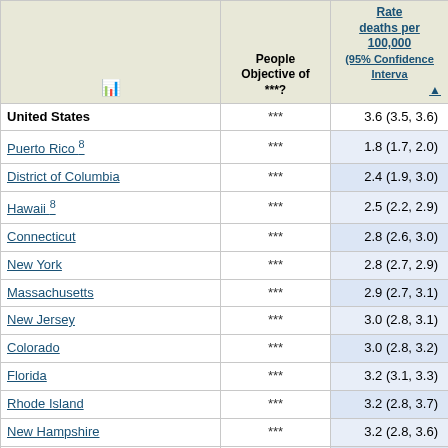|  | People Objective of ***? | Rate deaths per 100,000 (95% Confidence Interval) ▲ |
| --- | --- | --- |
| United States | *** | 3.6 (3.5, 3.6) |
| Puerto Rico 8 | *** | 1.8 (1.7, 2.0) |
| District of Columbia | *** | 2.4 (1.9, 3.0) |
| Hawaii 8 | *** | 2.5 (2.2, 2.9) |
| Connecticut | *** | 2.8 (2.6, 3.0) |
| New York | *** | 2.8 (2.7, 2.9) |
| Massachusetts | *** | 2.9 (2.7, 3.1) |
| New Jersey | *** | 3.0 (2.8, 3.1) |
| Colorado | *** | 3.0 (2.8, 3.2) |
| Florida | *** | 3.2 (3.1, 3.3) |
| Rhode Island | *** | 3.2 (2.8, 3.7) |
| New Hampshire | *** | 3.2 (2.8, 3.6) |
| Alaska | *** | 3.3 (2.6, 4.0) |
| California | *** | 3.3 (3.2, 3.3) |